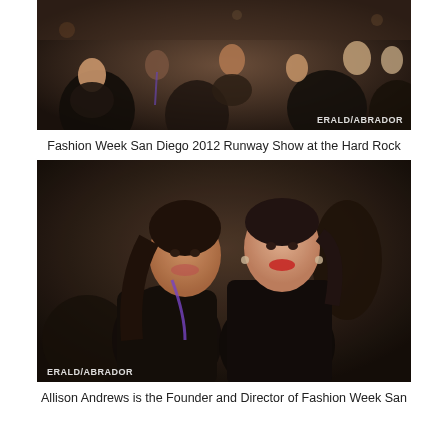[Figure (photo): Crowd of audience members seated at Fashion Week San Diego 2012 Runway Show at the Hard Rock, photographed in low light. Watermark reads ERALD/ABRADOR.]
Fashion Week San Diego 2012 Runway Show at the Hard Rock
[Figure (photo): Two women smiling and posing together at a fashion event, both wearing black. One has a purple lanyard. Watermark reads ERALD/ABRADOR.]
Allison Andrews is the Founder and Director of Fashion Week San